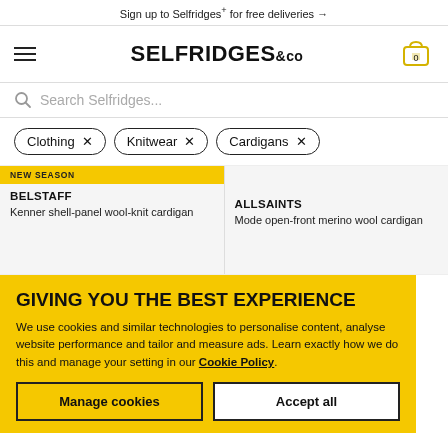Sign up to Selfridges+ for free deliveries →
[Figure (screenshot): Selfridges & Co logo with hamburger menu and cart icon (0 items)]
Search Selfridges...
Clothing ×
Knitwear ×
Cardigans ×
NEW SEASON
BELSTAFF
Kenner shell-panel wool-knit cardigan
ALLSAINTS
Mode open-front merino wool cardigan
GIVING YOU THE BEST EXPERIENCE
We use cookies and similar technologies to personalise content, analyse website performance and tailor and measure ads. Learn exactly how we do this and manage your setting in our Cookie Policy.
Manage cookies
Accept all